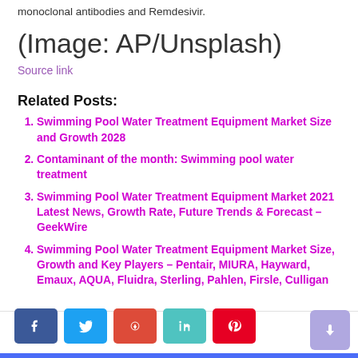monoclonal antibodies and Remdesivir.
[Figure (other): (Image: AP/Unsplash) placeholder text]
Source link
Related Posts:
Swimming Pool Water Treatment Equipment Market Size and Growth 2028
Contaminant of the month: Swimming pool water treatment
Swimming Pool Water Treatment Equipment Market 2021 Latest News, Growth Rate, Future Trends & Forecast – GeekWire
Swimming Pool Water Treatment Equipment Market Size, Growth and Key Players – Pentair, MIURA, Hayward, Emaux, AQUA, Fluidra, Sterling, Pahlen, Firsle, Culligan